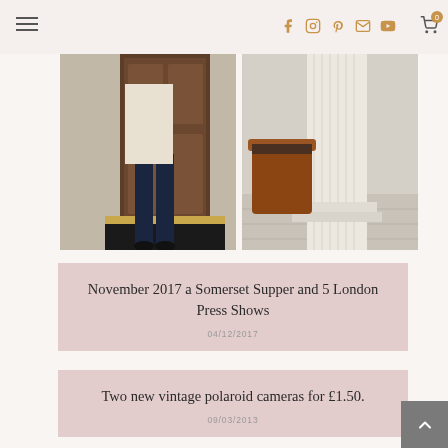Navigation header with hamburger menu and social icons (Facebook, Instagram, Pinterest, Email, YouTube) and cart with 0 items
[Figure (photo): Two side-by-side photos: left shows a person in dark jeans and black heeled boots standing at a grand door with brass step and a yellow accessory; right shows a white stone column with a terracotta pot planter at the base]
November 2017 a Somerset Supper and 5 London Press Shows
04/12/2017
Two new vintage polaroid cameras for £1.50.
09/03/2013